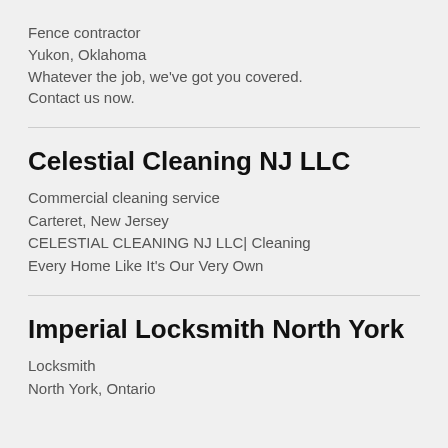Fence contractor
Yukon, Oklahoma
Whatever the job, we've got you covered.
Contact us now.
Celestial Cleaning NJ LLC
Commercial cleaning service
Carteret, New Jersey
CELESTIAL CLEANING NJ LLC| Cleaning Every Home Like It's Our Very Own
Imperial Locksmith North York
Locksmith
North York, Ontario